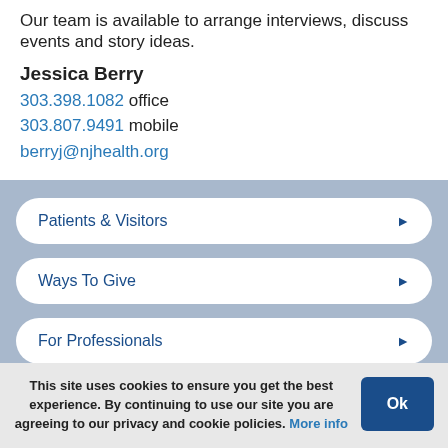Our team is available to arrange interviews, discuss events and story ideas.
Jessica Berry
303.398.1082 office
303.807.9491 mobile
berryj@njhealth.org
Patients & Visitors
Ways To Give
For Professionals
This site uses cookies to ensure you get the best experience. By continuing to use our site you are agreeing to our privacy and cookie policies. More info